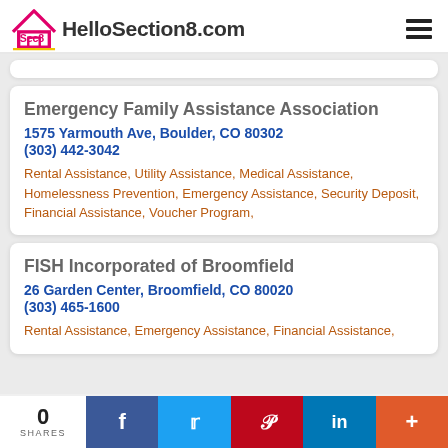HelloSection8.com
Emergency Family Assistance Association
1575 Yarmouth Ave, Boulder, CO 80302
(303) 442-3042
Rental Assistance, Utility Assistance, Medical Assistance, Homelessness Prevention, Emergency Assistance, Security Deposit, Financial Assistance, Voucher Program,
FISH Incorporated of Broomfield
26 Garden Center, Broomfield, CO 80020
(303) 465-1600
Rental Assistance, Emergency Assistance, Financial Assistance,
0 SHARES | Facebook | Twitter | Pinterest | LinkedIn | +